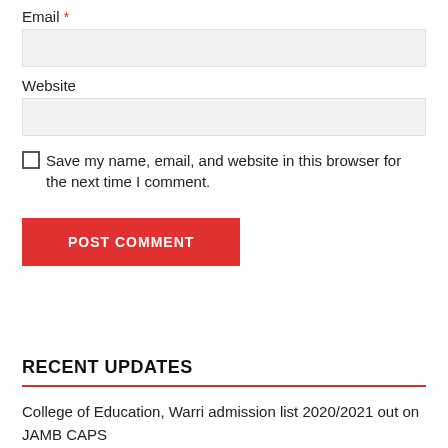Email *
Website
Save my name, email, and website in this browser for the next time I comment.
POST COMMENT
RECENT UPDATES
College of Education, Warri admission list 2020/2021 out on JAMB CAPS